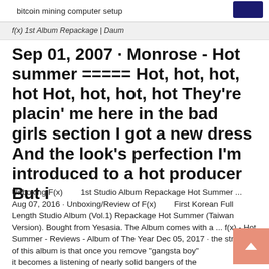bitcoin mining computer setup
f(x) 1st Album Repackage | Daum
Sep 01, 2007 · Monrose - Hot summer ===== Hot, hot, hot, hot Hot, hot, hot, hot They're placin' me here in the bad girls section I got a new dress And the look's perfection I'm introduced to a hot producer But i
Unboxing F(x)        1st Studio Album Repackage Hot Summer ... Aug 07, 2016 · Unboxing/Review of F(x)        First Korean Full Length Studio Album (Vol.1) Repackage Hot Summer (Taiwan Version). Bought from Yesasia. The Album comes with a ... f(x) - Hot Summer - Reviews - Album of The Year Dec 05, 2017 · the strength of this album is that once you remove "gangsta boy" it becomes a listening of nearly solid bangers of the